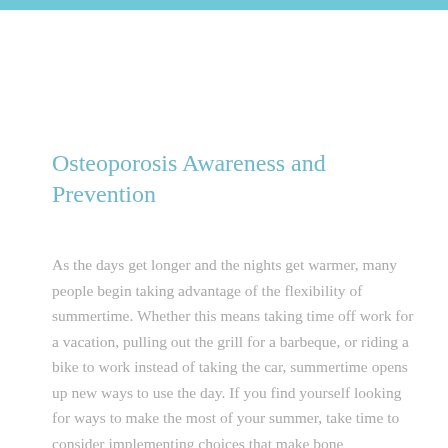Osteoporosis Awareness and Prevention
As the days get longer and the nights get warmer, many people begin taking advantage of the flexibility of summertime. Whether this means taking time off work for a vacation, pulling out the grill for a barbeque, or riding a bike to work instead of taking the car, summertime opens up new ways to use the day. If you find yourself looking for ways to make the most of your summer, take time to consider implementing choices that make bone